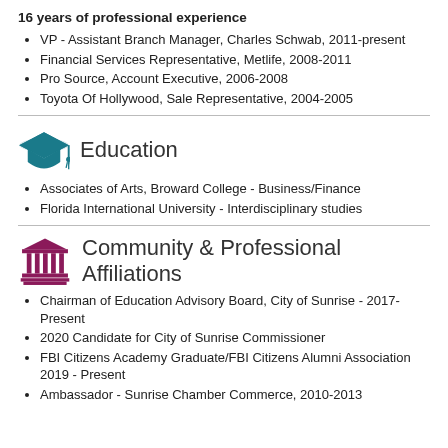16 years of professional experience
VP - Assistant Branch Manager, Charles Schwab, 2011-present
Financial Services Representative, Metlife, 2008-2011
Pro Source, Account Executive, 2006-2008
Toyota Of Hollywood, Sale Representative, 2004-2005
Education
Associates of Arts, Broward College - Business/Finance
Florida International University - Interdisciplinary studies
Community & Professional Affiliations
Chairman of Education Advisory Board, City of Sunrise - 2017-Present
2020 Candidate for City of Sunrise Commissioner
FBI Citizens Academy Graduate/FBI Citizens Alumni Association 2019 - Present
Ambassador - Sunrise Chamber Commerce, 2010-2013